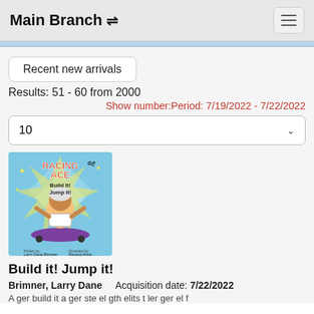Main Branch
Recent new arrivals
Results: 51 - 60 from 2000
Show number:Period: 7/19/2022 - 7/22/2022
10
[Figure (illustration): Book cover for 'Racing Ace: Build It! Jump It!' showing a child on a skateboard with colorful illustration style]
Build it! Jump it!
Brimner, Larry Dane   Acquisition date: 7/22/2022
A ger build it a ger ste el gth elits t ler ger el f